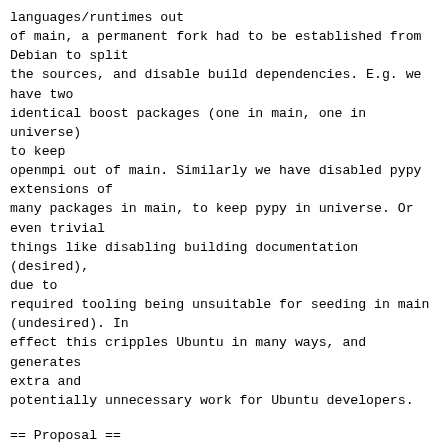languages/runtimes out
of main, a permanent fork had to be established from
Debian to split
the sources, and disable build dependencies. E.g. we
have two
identical boost packages (one in main, one in universe)
to keep
openmpi out of main. Similarly we have disabled pypy
extensions of
many packages in main, to keep pypy in universe. Or
even trivial
things like disabling building documentation (desired),
due to
required tooling being unsuitable for seeding in main
(undesired). In
effect this cripples Ubuntu in many ways, and generates
extra and
potentially unnecessary work for Ubuntu developers.
== Proposal ==
I would like to propose to relax the requirement for
build-depends of
packages in main to come from main only, and thus stop
following
build-dependencies to be part of a closed set in main
component.
This would mean that the universe component will always
be available